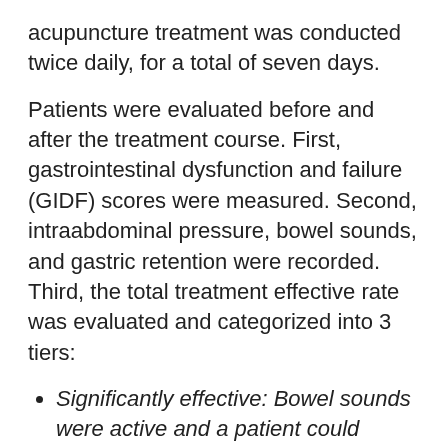acupuncture treatment was conducted twice daily, for a total of seven days.
Patients were evaluated before and after the treatment course. First, gastrointestinal dysfunction and failure (GIDF) scores were measured. Second, intraabdominal pressure, bowel sounds, and gastric retention were recorded. Third, the total treatment effective rate was evaluated and categorized into 3 tiers:
Significantly effective: Bowel sounds were active and a patient could tolerate 25 kcal/kg/day of elemental diet. Defecation, gas production, and bloating showed improvement.
Effective: bowel sounds > 4 times / min.
Not effective: bowel sounds showed no improvement, or ≤3 times / min. 48 hours after